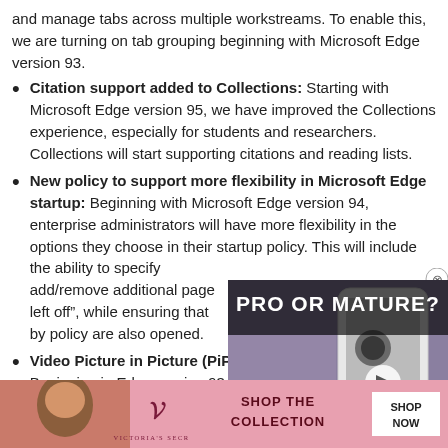and manage tabs across multiple workstreams. To enable this, we are turning on tab grouping beginning with Microsoft Edge version 93.
Citation support added to Collections: Starting with Microsoft Edge version 95, we have improved the Collections experience, especially for students and researchers. Collections will start supporting citations and reading lists.
New policy to support more flexibility in Microsoft Edge startup: Beginning with Microsoft Edge version 94, enterprise administrators will have more flexibility in the options they choose in their startup policy. This will include the ability to specify add/remove additional pages left off”, while ensuring that by policy are also opened.
Video Picture in Picture (PiP): Beginning in Edge version 93, it will become even easier to e... over over...
[Figure (screenshot): Video ad overlay with text 'PRO OR MATURE?' and image of a white smartphone]
[Figure (screenshot): Victoria's Secret banner advertisement: 'SHOP THE COLLECTION' with SHOP NOW button]